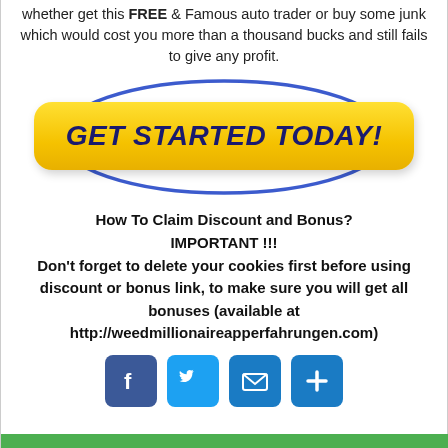whether get this FREE & Famous auto trader or buy some junk which would cost you more than a thousand bucks and still fails to give any profit.
[Figure (illustration): Yellow 'GET STARTED TODAY!' call-to-action button with dark blue italic bold text, surrounded by a blue oval ring, on a white background.]
How To Claim Discount and Bonus?
IMPORTANT !!!
Don't forget to delete your cookies first before using discount or bonus link, to make sure you will get all bonuses (available at http://weedmillionaireapperfahrungen.com)
[Figure (illustration): Four social media icon buttons: Facebook (blue f), Twitter (blue bird), Email (blue envelope), Plus/share (blue plus sign).]